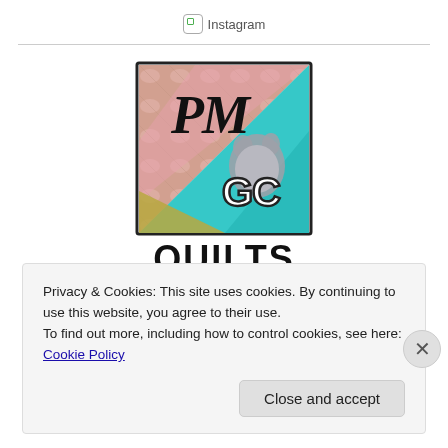Instagram
[Figure (logo): PMGC Quilts Skill Builder Series logo — square logo with quilt fabric pattern, teal triangle, 'PM' in script, 'GC' in bold outlined letters, below reads 'QUILTS' in large bold text and 'Skill Builder Series' in bold text]
Privacy & Cookies: This site uses cookies. By continuing to use this website, you agree to their use. To find out more, including how to control cookies, see here: Cookie Policy
Close and accept